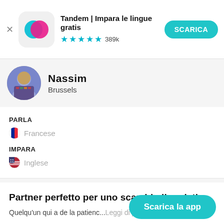[Figure (screenshot): App store banner ad for Tandem language learning app with icon, title, star rating, and download button]
Tandem | Impara le lingue gratis
★★★★½ 389k
Nassim
Brussels
PARLA
Francese
IMPARA
Inglese
Partner perfetto per uno scambio linguistico
Quelqu'un qui a de la patienc...Leggi di più
Scarica la app